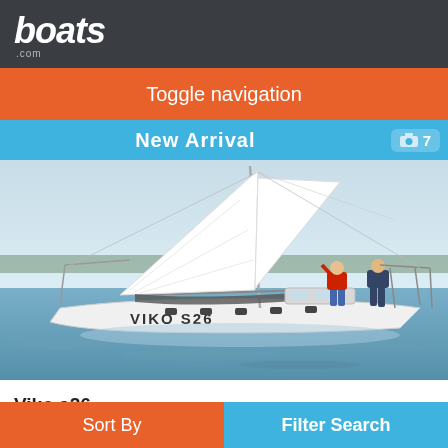boats.com
Toggle navigation
New Arrival
[Figure (photo): Sailboat named VIKO S26 sailing on a lake/river with crew aboard, white sails, clear sky, photographed from the side at water level.]
Viko s26
Southampton, Hampshire, United Kingdom
Sort By
Filter Search